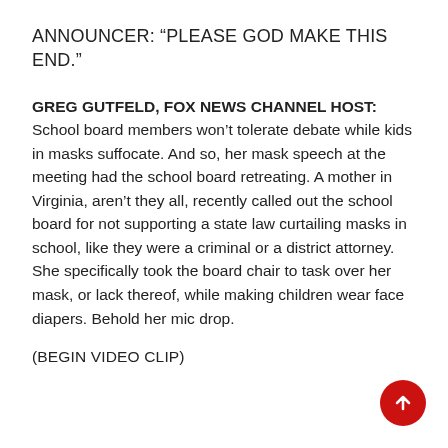ANNOUNCER: “PLEASE GOD MAKE THIS END.”
GREG GUTFELD, FOX NEWS CHANNEL HOST: School board members won’t tolerate debate while kids in masks suffocate. And so, her mask speech at the meeting had the school board retreating. A mother in Virginia, aren’t they all, recently called out the school board for not supporting a state law curtailing masks in school, like they were a criminal or a district attorney. She specifically took the board chair to task over her mask, or lack thereof, while making children wear face diapers. Behold her mic drop.
(BEGIN VIDEO CLIP)